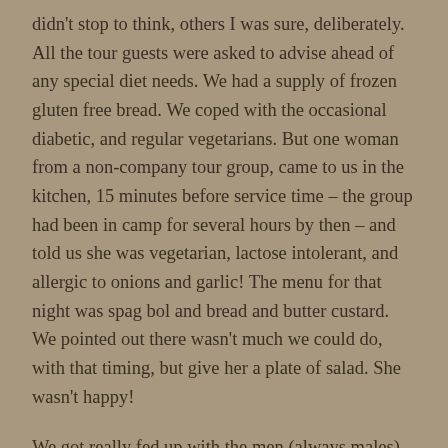didn't stop to think, others I was sure, deliberately. All the tour guests were asked to advise ahead of any special diet needs. We had a supply of frozen gluten free bread. We coped with the occasional diabetic, and regular vegetarians. But one woman from a non-company tour group, came to us in the kitchen, 15 minutes before service time – the group had been in camp for several hours by then – and told us she was vegetarian, lactose intolerant, and allergic to onions and garlic! The menu for that night was spag bol and bread and butter custard. We pointed out there wasn't much we could do, with that timing, but give her a plate of salad. She wasn't happy!
We got really fed up with the men (always males) who would front up to the serving area, as we were dishing up maybe fifty plates of food, and expect us to drop everything and fetch them one of their beers from the coolroom – where we'd agreed to store it as a favour. They would get stroppy when we said they'd have to wait.